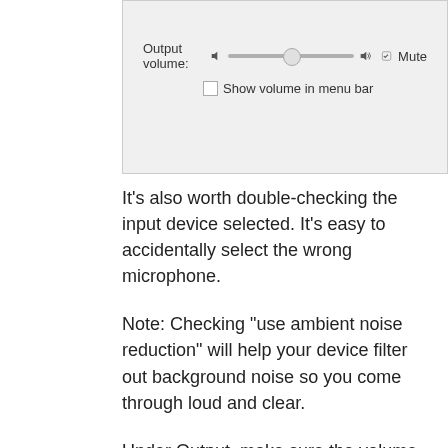[Figure (screenshot): macOS Sound preferences panel showing Output volume slider with mute checkbox and 'Show volume in menu bar' checkbox]
It's also worth double-checking the input device selected. It's easy to accidentally select the wrong microphone.
Note: Checking "use ambient noise reduction" will help your device filter out background noise so you come through loud and clear.
Under Output, make sure the volume is set to an appropriate level so you can hear your video played back to you.
PC
On a PC choose from Settings > Sound > Under Recording, make sure your mic is the default device for both Playback and Recording. Under Levels, set the appropriate volume.